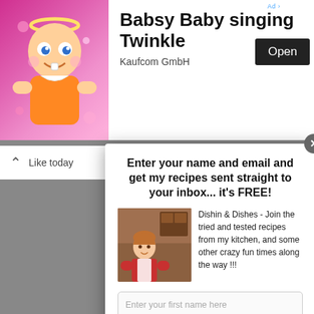[Figure (screenshot): Ad banner showing animated baby character on pink background with 'Babsy Baby singing Twinkle' text, Kaufcom GmbH label, and Open button]
Enter your name and email and get my recipes sent straight to your inbox... it's FREE!
Dishin & Dishes - Join the tried and tested recipes from my kitchen, and some other crazy fun times along the way !!!
Enter your first name here
Enter a valid email here
Subscribe
No worries! Your information will *never* be shared or sold to a 3rd party.